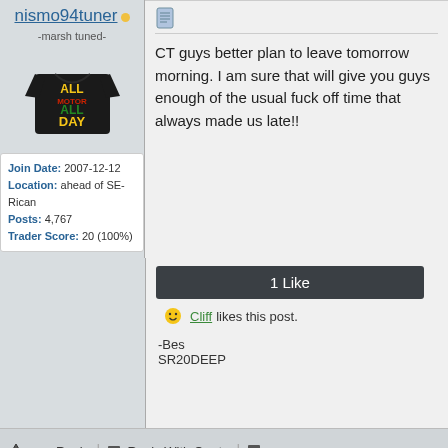nismo94tuner
-marsh tuned-
[Figure (photo): Avatar: black t-shirt with 'ALL MOTOR ALL DAY' in yellow, red, and green text]
| Join Date: | 2007-12-12 |
| Location: | ahead of SE-Rican |
| Posts: | 4,767 |
| Trader Score: | 20 (100%) |
CT guys better plan to leave tomorrow morning. I am sure that will give you guys enough of the usual fuck off time that always made us late!!
1 Like
Cliff likes this post.
-Bes
SR20DEEP
Reply | Reply With Quote
2012-05-23 20:13:22  #52
Fatboyse-r
Still Plays with Cars